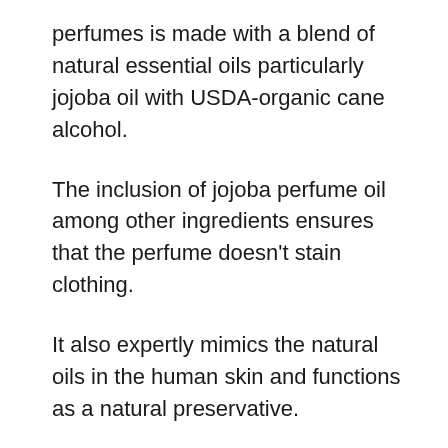perfumes is made with a blend of natural essential oils particularly jojoba oil with USDA-organic cane alcohol.
The inclusion of jojoba perfume oil among other ingredients ensures that the perfume doesn't stain clothing.
It also expertly mimics the natural oils in the human skin and functions as a natural preservative.
What makes it more amazing is that the Lurk eau de toilette also comes in a recyclable package.